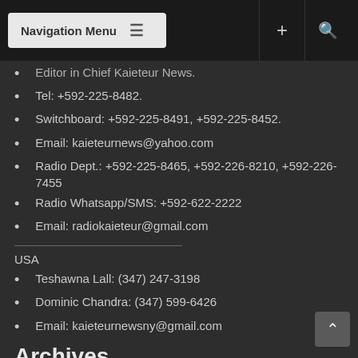Navigation Menu
Editor in Chief Kaieteur News.
Tel: +592-225-8482.
Switchboard: +592-225-8491, +592-225-8452.
Email: kaieteurnews@yahoo.com
Radio Dept.: +592-225-8465, +592-226-8210, +592-226-7455
Radio Whatsapp/SMS: +592-622-2222
Email: radiokaieteur@gmail.com
USA
Teshawna Lall: (347) 247-3198
Dominic Chandra: (347) 599-6426
Email: kaieteurnewsny@gmail.com
Archives
May 2017
| M | T | W | T | F | S | S |
| --- | --- | --- | --- | --- | --- | --- |
|  |  |  |  |  |  |  |